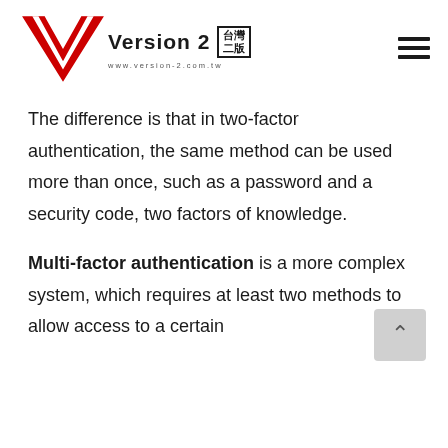Version 2 | 台灣二版 www.version-2.com.tw
The difference is that in two-factor authentication, the same method can be used more than once, such as a password and a security code, two factors of knowledge.
Multi-factor authentication is a more complex system, which requires at least two methods to allow access to a certain